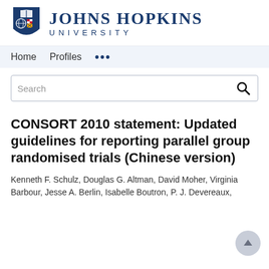[Figure (logo): Johns Hopkins University logo with shield and university name]
Home   Profiles   ...
Search
CONSORT 2010 statement: Updated guidelines for reporting parallel group randomised trials (Chinese version)
Kenneth F. Schulz, Douglas G. Altman, David Moher, Virginia Barbour, Jesse A. Berlin, Isabelle Boutron, P. J. Devereaux,